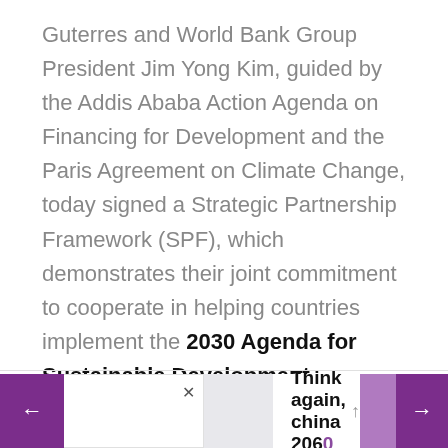Guterres and World Bank Group President Jim Yong Kim, guided by the Addis Ababa Action Agenda on Financing for Development and the Paris Agreement on Climate Change, today signed a Strategic Partnership Framework (SPF), which demonstrates their joint commitment to cooperate in helping countries implement the 2030 Agenda for Sustainable Development.
The SPF includes four key areas of cooperation:
[Figure (other): Advertisement banner at bottom of page with navigation arrows, a close button, image placeholder, and text reading 'Think again, china 2060' with an upward arrow.]